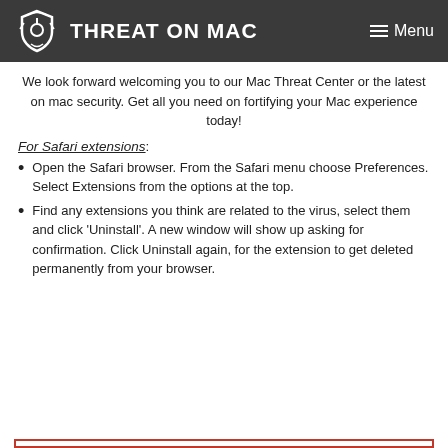THREAT ON MAC
We look forward welcoming you to our Mac Threat Center or the latest on mac security. Get all you need on fortifying your Mac experience today!
For Safari extensions:
Open the Safari browser. From the Safari menu choose Preferences. Select Extensions from the options at the top.
Find any extensions you think are related to the virus, select them and click ‘Uninstall’. A new window will show up asking for confirmation. Click Uninstall again, for the extension to get deleted permanently from your browser.